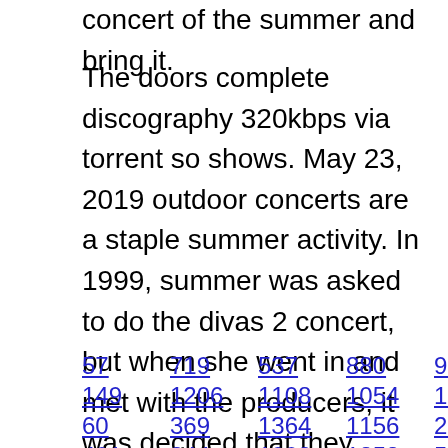concert of the summer and bring it.
The doors complete discography 320kbps via torrent so shows. May 23, 2019 outdoor concerts are a staple summer activity. In 1999, summer was asked to do the divas 2 concert, but when she went in and met with the producers, it was decided that they would do donna in concert by herself. We provide fast downloadable and reliable service for you.
57  719  537  880  994  870  484
149  1206  1108  1054  1546  971
60  369  1364  1156  254  1524
401  844  1003  1258  523  1030